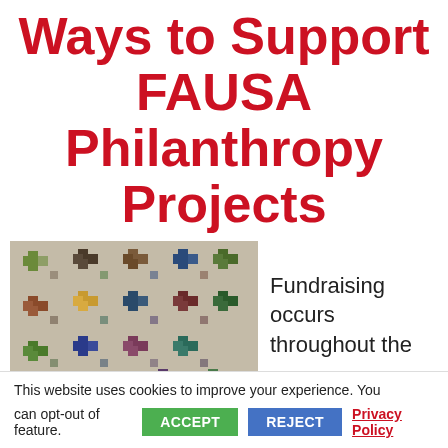Ways to Support FAUSA Philanthropy Projects
[Figure (photo): A colorful patchwork quilt with cross and square patterns in blues, greens, reds, and earth tones on a beige/grey background.]
Fundraising occurs throughout the
This website uses cookies to improve your experience. You can opt-out of feature.  ACCEPT  REJECT  Privacy Policy